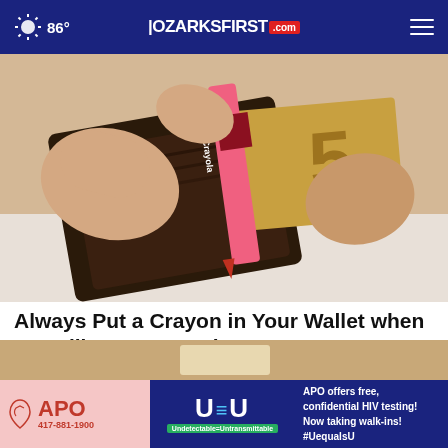86° | OZARKSFIRST.com
[Figure (photo): Hands opening a brown leather wallet with a red Crayola crayon inside along with currency]
Always Put a Crayon in Your Wallet when Travelling, Here's Why
Sogoodly
[Figure (infographic): APO advertisement banner: APO 417-881-1900, U equals U with Undetectable=Untransmittable, APO offers free, confidential HIV testing! Now taking walk-ins! #UequalsU]